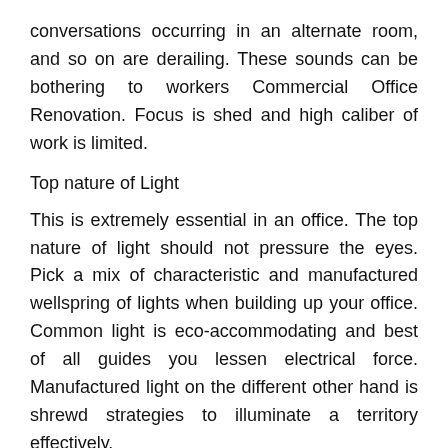conversations occurring in an alternate room, and so on are derailing. These sounds can be bothering to workers Commercial Office Renovation. Focus is shed and high caliber of work is limited.
Top nature of Light
This is extremely essential in an office. The top nature of light should not pressure the eyes. Pick a mix of characteristic and manufactured wellspring of lights when building up your office. Common light is eco-accommodating and best of all guides you lessen electrical force. Manufactured light on the different other hand is shrewd strategies to illuminate a territory effectively.
Windows and Curtains
Workplaces need to not be blinded by dimness. License enough daylight into the workplace by having adequate assortments of windows in